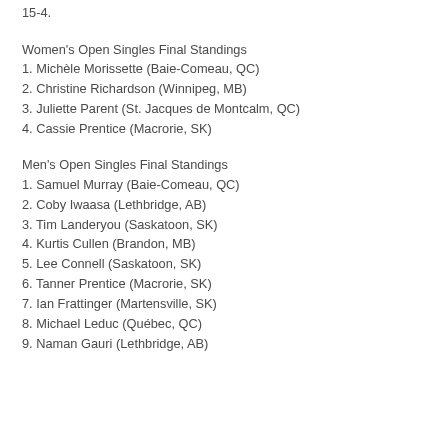15-4.
Women's Open Singles Final Standings
1. Michèle Morissette (Baie-Comeau, QC)
2. Christine Richardson (Winnipeg, MB)
3. Juliette Parent (St. Jacques de Montcalm, QC)
4. Cassie Prentice (Macrorie, SK)
Men's Open Singles Final Standings
1. Samuel Murray (Baie-Comeau, QC)
2. Coby Iwaasa (Lethbridge, AB)
3. Tim Landeryou (Saskatoon, SK)
4. Kurtis Cullen (Brandon, MB)
5. Lee Connell (Saskatoon, SK)
6. Tanner Prentice (Macrorie, SK)
7. Ian Frattinger (Martensville, SK)
8. Michael Leduc (Québec, QC)
9. Naman Gauri (Lethbridge, AB)